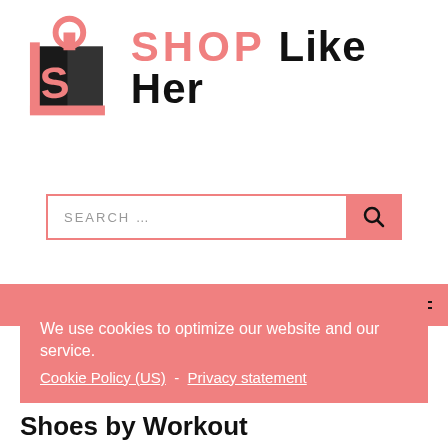[Figure (logo): Shop Like Her logo with shopping bag icon and text]
SEARCH ...
We use cookies to optimize our website and our service. Cookie Policy (US) - Privacy statement
Accept
Shoes by Workout